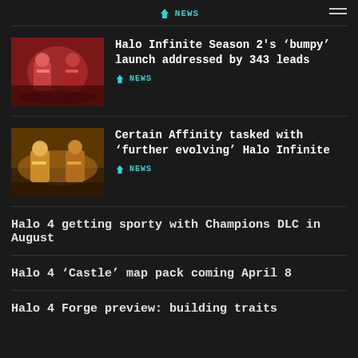NEWS
[Figure (screenshot): Halo Infinite game screenshot showing armored soldiers]
Halo Infinite Season 2’s ‘bumpy’ launch addressed by 343 leads
NEWS
[Figure (screenshot): Halo Infinite game screenshot showing armored characters in a yellow/orange environment]
Certain Affinity tasked with ‘further evolving’ Halo Infinite
NEWS
Halo 4 getting sporty with Champions DLC in August
Halo 4 ‘Castle’ map pack coming April 8
Halo 4 Forge preview: building traits